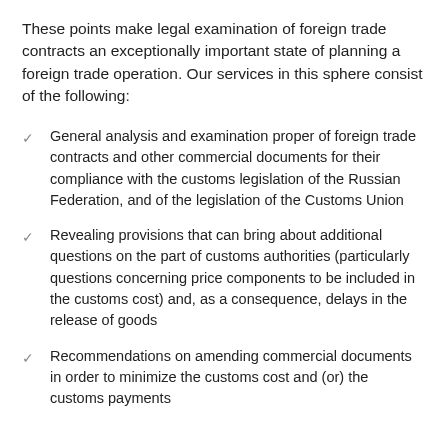These points make legal examination of foreign trade contracts an exceptionally important state of planning a foreign trade operation. Our services in this sphere consist of the following:
General analysis and examination proper of foreign trade contracts and other commercial documents for their compliance with the customs legislation of the Russian Federation, and of the legislation of the Customs Union
Revealing provisions that can bring about additional questions on the part of customs authorities (particularly questions concerning price components to be included in the customs cost) and, as a consequence, delays in the release of goods
Recommendations on amending commercial documents in order to minimize the customs cost and (or) the customs payments